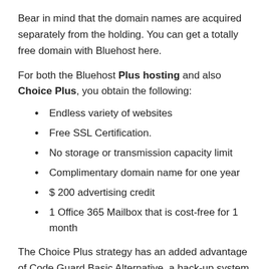Bear in mind that the domain names are acquired separately from the holding. You can get a totally free domain with Bluehost here.
For both the Bluehost Plus hosting and also Choice Plus, you obtain the following:
Endless variety of websites
Free SSL Certification.
No storage or transmission capacity limit
Complimentary domain name for one year
$ 200 advertising credit
1 Office 365 Mailbox that is cost-free for 1 month
The Choice Plus strategy has an added advantage of Code Guard Basic Alternative, a back-up system where your documents is conserved and also duplicated. If any kind of crash happens and also your internet site information goes